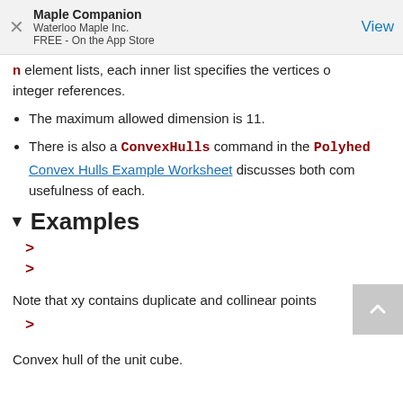Maple Companion
Waterloo Maple Inc.
FREE - On the App Store
View
element lists, each inner list specifies the vertices of integer references.
The maximum allowed dimension is 11.
There is also a ConvexHulls command in the Polyhed... Convex Hulls Example Worksheet discusses both com... usefulness of each.
Examples
>
>
Note that xy contains duplicate and collinear points
>
Convex hull of the unit cube.